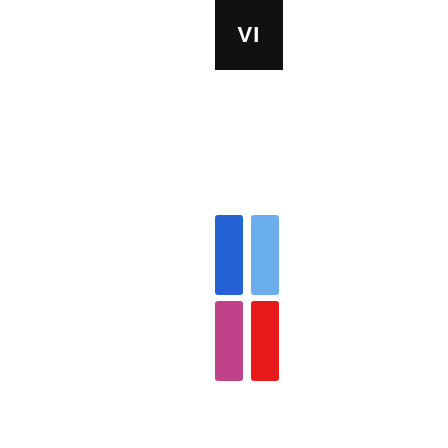[Figure (logo): Black rectangle with white text 'VI' partially visible, positioned at top center-right]
[Figure (infographic): Four vertical colored bars arranged in 2x2 grid: dark blue and light blue on top row, pink/magenta and red on bottom row]
[Figure (logo): Black rectangle with white text 'NE' and 'AL' on two lines, partially cropped]
[Figure (logo): Small green icon with letter A and a light gray icon beside it]
Tink Released New